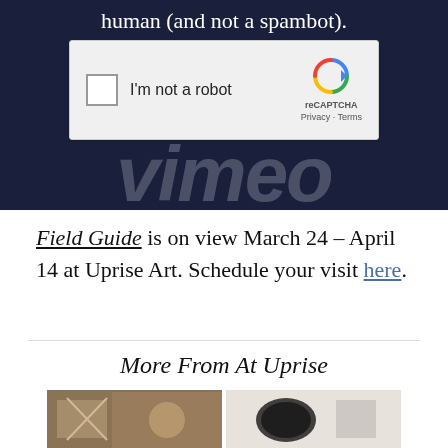human (and not a spambot).
[Figure (screenshot): reCAPTCHA widget with checkbox labeled 'I'm not a robot' and reCAPTCHA logo with 'Privacy - Terms' text]
[Figure (logo): Vimeo logo in large white italic text on dark navy background]
Field Guide is on view March 24 – April 14 at Uprise Art. Schedule your visit here.
More From At Uprise
[Figure (photo): Two side-by-side photos: left shows a person in front of a brick wall with artwork, right shows abstract art on a white wall]